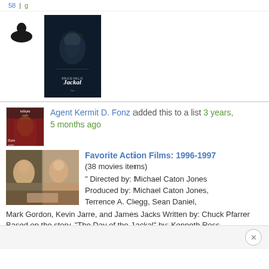58 | something | g
[Figure (photo): Movie poster for 'The Jackal' - dark moody poster with person in hat, title at bottom]
Agent Kermit D. Fonz added this to a list 3 years, 5 months ago
[Figure (photo): Avatar thumbnail - woman in red/brown outfit from InStyle]
[Figure (photo): Still image from The Jackal showing two men in conversation at a table]
Favorite Action Films: 1996-1997
(38 movies items)
" Directed by: Michael Caton Jones Produced by: Michael Caton Jones, Terrence A. Clegg, Sean Daniel, Mark Gordon, Kevin Jarre, and James Jacks Written by: Chuck Pfarrer Based on the story, "The Day of the Jackal" by: Kenneth Ross Cinematography: Karl Walter Linderlaub Edited by: Jim Clark Music by: Carter Burwell Distributed by: Universal Pictures"